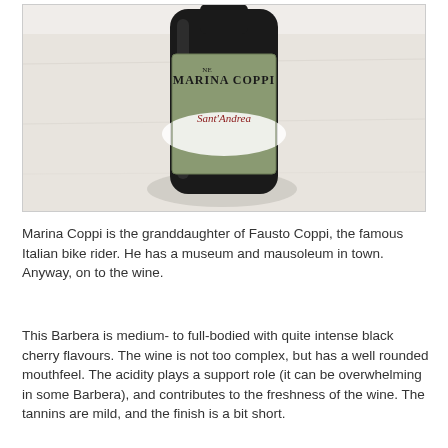[Figure (photo): Photo of a wine bottle with a green and white label reading 'Marina Coppi Sant'Andrea', placed on a light marble or stone surface]
Marina Coppi is the granddaughter of Fausto Coppi, the famous Italian bike rider. He has a museum and mausoleum in town. Anyway, on to the wine.
This Barbera is medium- to full-bodied with quite intense black cherry flavours. The wine is not too complex, but has a well rounded mouthfeel. The acidity plays a support role (it can be overwhelming in some Barbera), and contributes to the freshness of the wine. The tannins are mild, and the finish is a bit short.